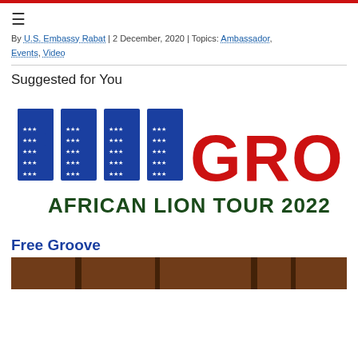By U.S. Embassy Rabat | 2 December, 2020 | Topics: Ambassador, Events, Video
Suggested for You
[Figure (illustration): FREE GROOVE - AFRICAN LION TOUR 2022 logo. 'FREE' in large blue block letters filled with white stars, 'GROOVE' in large red block letters. Underneath: 'AFRICAN LION TOUR 2022' in dark green bold text.]
Free Groove
[Figure (photo): Bottom strip showing a partial indoor photo, appears to be an interior room with wooden doors.]